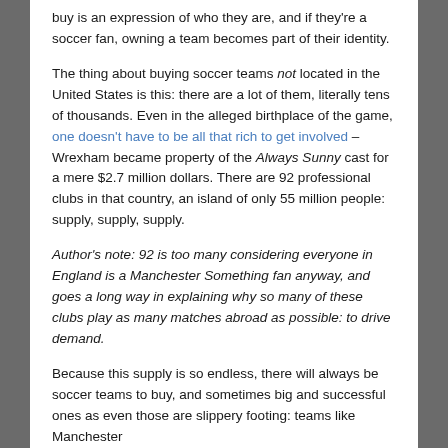buy is an expression of who they are, and if they're a soccer fan, owning a team becomes part of their identity.
The thing about buying soccer teams not located in the United States is this: there are a lot of them, literally tens of thousands. Even in the alleged birthplace of the game, one doesn't have to be all that rich to get involved – Wrexham became property of the Always Sunny cast for a mere $2.7 million dollars. There are 92 professional clubs in that country, an island of only 55 million people: supply, supply, supply.
Author's note: 92 is too many considering everyone in England is a Manchester Something fan anyway, and goes a long way in explaining why so many of these clubs play as many matches abroad as possible: to drive demand.
Because this supply is so endless, there will always be soccer teams to buy, and sometimes big and successful ones as even those are slippery footing: teams like Manchester